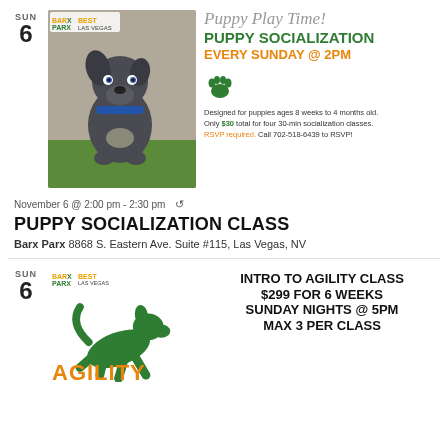[Figure (infographic): Puppy socialization promotional flyer with photo of gray puppy, Barx Parx and Best of Las Vegas logos, decorative text: Puppy Play Time!, PUPPY SOCIALIZATION EVERY SUNDAY @ 2PM, green paw icon, description text about classes for puppies ages 8 weeks to 4 months, $30 for four 30-min socialization classes, RSVP required call 702-518-6439]
November 6 @ 2:00 pm - 2:30 pm ↺
PUPPY SOCIALIZATION CLASS
Barx Parx 8868 S. Eastern Ave. Suite #115, Las Vegas, NV
[Figure (infographic): Agility class promotional flyer with Barx Parx and Best of Las Vegas logos, green jumping dog silhouette, orange AGILITY text, right side text: INTRO TO AGILITY CLASS $299 FOR 6 WEEKS SUNDAY NIGHTS @ 5PM MAX 3 PER CLASS]